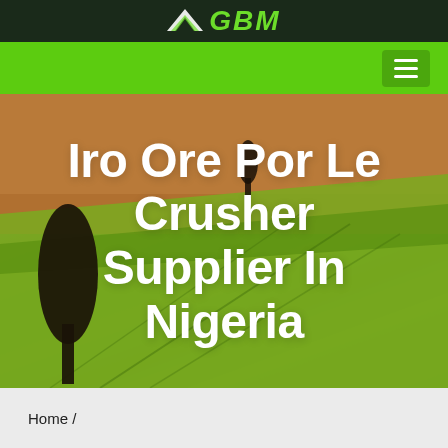[Figure (logo): GBM company logo with green text and wing/chevron icon on dark background]
[Figure (photo): Aerial photo of rolling farmland with green and golden fields, trees, and field lines, serving as hero image background]
Iro Ore Por Le Crusher Supplier In Nigeria
Home /